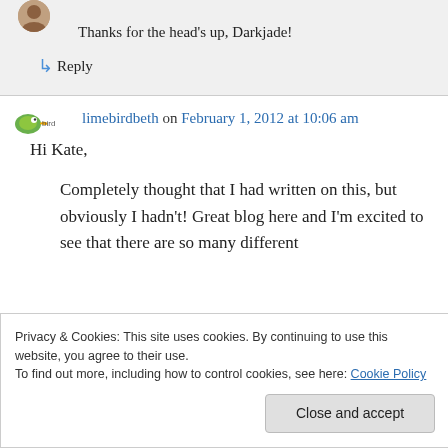Thanks for the head's up, Darkjade!
↳ Reply
limebirdbeth on February 1, 2012 at 10:06 am
Hi Kate,
Completely thought that I had written on this, but obviously I hadn't! Great blog here and I'm excited to see that there are so many different
Privacy & Cookies: This site uses cookies. By continuing to use this website, you agree to their use.
To find out more, including how to control cookies, see here: Cookie Policy
Close and accept
spare to write. If you want to write, you WILL